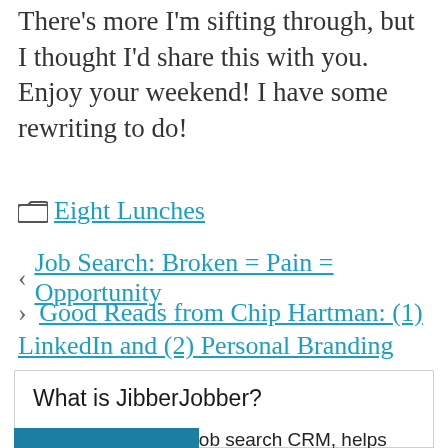There's more I'm sifting through, but I thought I'd share this with you. Enjoy your weekend! I have some rewriting to do!
Eight Lunches
< Job Search: Broken = Pain = Opportunity
> Good Reads from Chip Hartman: (1) LinkedIn and (2) Personal Branding
What is JibberJobber?
JibberJobber, your job search CRM, helps you manage your job search and, after you land, your professional relationships. Upgrade is only $60 for an entire year.